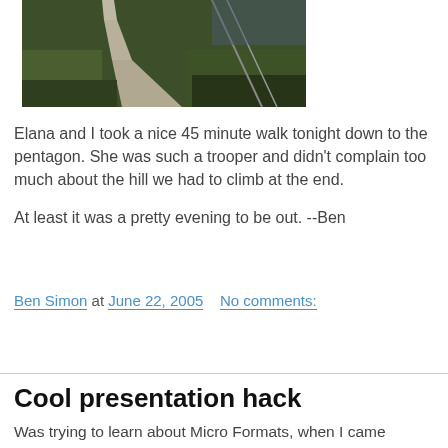[Figure (photo): A winding concrete path/sidewalk through a grassy area at dusk or evening]
Elana and I took a nice 45 minute walk tonight down to the pentagon. She was such a trooper and didn't complain too much about the hill we had to climb at the end.

At least it was a pretty evening to be out. --Ben
Ben Simon at June 22, 2005   No comments:
Share
Cool presentation hack
Was trying to learn about Micro Formats, when I came accross this page: What are Microformats? Very interesting presentation technique. Seems like just CSS + JavaScript -